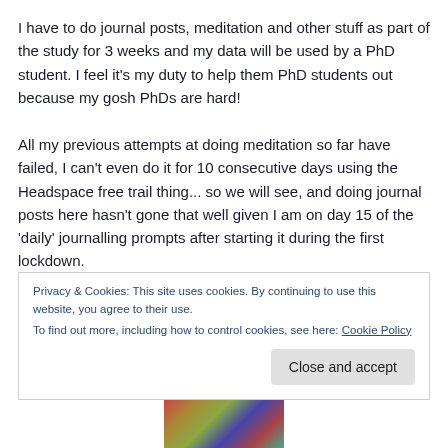I have to do journal posts, meditation and other stuff as part of the study for 3 weeks and my data will be used by a PhD student. I feel it's my duty to help them PhD students out because my gosh PhDs are hard!
All my previous attempts at doing meditation so far have failed, I can't even do it for 10 consecutive days using the Headspace free trail thing... so we will see, and doing journal posts here hasn't gone that well given I am on day 15 of the 'daily' journalling prompts after starting it during the first lockdown.
Privacy & Cookies: This site uses cookies. By continuing to use this website, you agree to their use. To find out more, including how to control cookies, see here: Cookie Policy
Close and accept